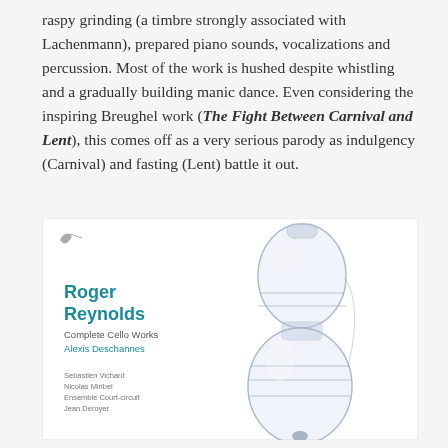raspy grinding (a timbre strongly associated with Lachenmann), prepared piano sounds, vocalizations and percussion. Most of the work is hushed despite whistling and a gradually building manic dance. Even considering the inspiring Breughel work (The Fight Between Carnival and Lent), this comes off as a very serious parody as indulgency (Carnival) and fasting (Lent) battle it out.
[Figure (photo): Album cover for Roger Reynolds 'Complete Cello Works' featuring Alexis Deschanes, with Sebastien Vichard, Nicolas Miribel, Ensemble Court-circuit, Jean Deroyer. The cover shows a transparent/glass cello-shaped object on a white background.]